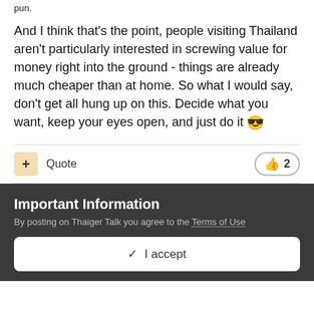pun.
And I think that's the point, people visiting Thailand aren't particularly interested in screwing value for money right into the ground - things are already much cheaper than at home. So what I would say, don't get all hung up on this. Decide what you want, keep your eyes open, and just do it 😎
+ Quote   👍 2
Important Information
By posting on Thaiger Talk you agree to the Terms of Use
✓ I accept